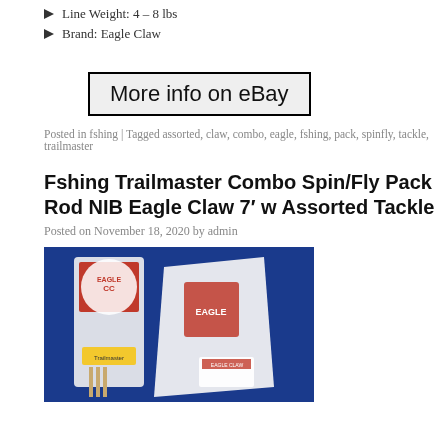Line Weight: 4 – 8 lbs
Brand: Eagle Claw
More info on eBay
Posted in fshing | Tagged assorted, claw, combo, eagle, fshing, pack, spinfly, tackle, trailmaster
Fshing Trailmaster Combo Spin/Fly Pack Rod NIB Eagle Claw 7′ w Assorted Tackle
Posted on November 18, 2020 by admin
[Figure (photo): Photo of Eagle Claw fishing combo pack product against blue background, showing red/white packaging with Eagle Claw branding and assorted tackle items]